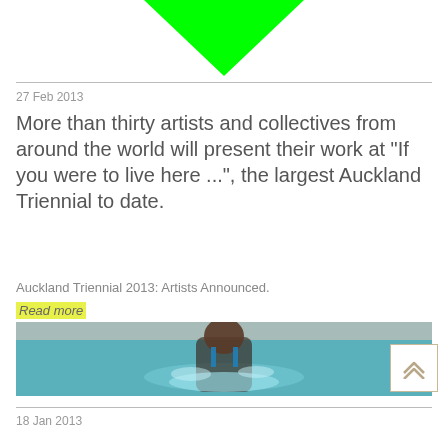[Figure (illustration): Green downward-pointing chevron/arrow at top of page]
27 Feb 2013
More than thirty artists and collectives from around the world will present their work at "If you were to live here ...", the largest Auckland Triennial to date.
Auckland Triennial 2013: Artists Announced.
Read more
[Figure (photo): A person in a blue swimsuit standing in a swimming pool with water splashing around them]
18 Jan 2013